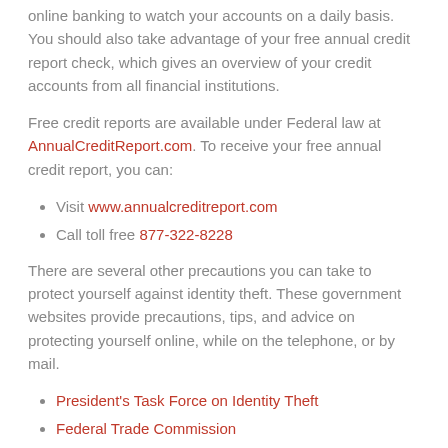online banking to watch your accounts on a daily basis. You should also take advantage of your free annual credit report check, which gives an overview of your credit accounts from all financial institutions.
Free credit reports are available under Federal law at AnnualCreditReport.com. To receive your free annual credit report, you can:
Visit www.annualcreditreport.com
Call toll free 877-322-8228
There are several other precautions you can take to protect yourself against identity theft. These government websites provide precautions, tips, and advice on protecting yourself online, while on the telephone, or by mail.
President's Task Force on Identity Theft
Federal Trade Commission